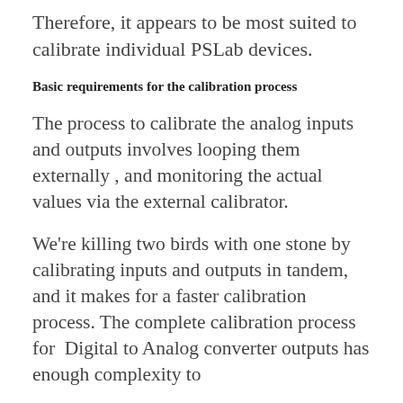Therefore, it appears to be most suited to calibrate individual PSLab devices.
Basic requirements for the calibration process
The process to calibrate the analog inputs and outputs involves looping them externally , and monitoring the actual values via the external calibrator.
We're killing two birds with one stone by calibrating inputs and outputs in tandem, and it makes for a faster calibration process. The complete calibration process for  Digital to Analog converter outputs has enough complexity to